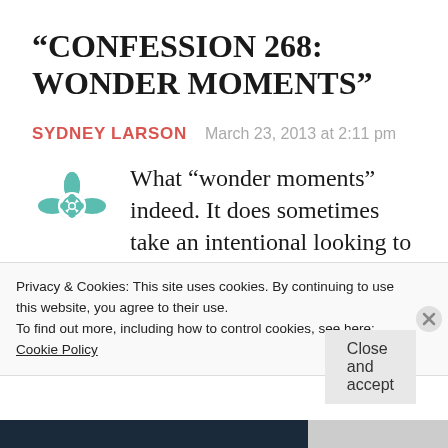“CONFESSION 268: WONDER MOMENTS”
SYDNEY LARSON   March 23, 2013 at 2:11 pm
What "wonder moments" indeed. It does sometimes take an intentional looking to see them and sometimes they are
Privacy & Cookies: This site uses cookies. By continuing to use this website, you agree to their use.
To find out more, including how to control cookies, see here:
Cookie Policy
Close and accept